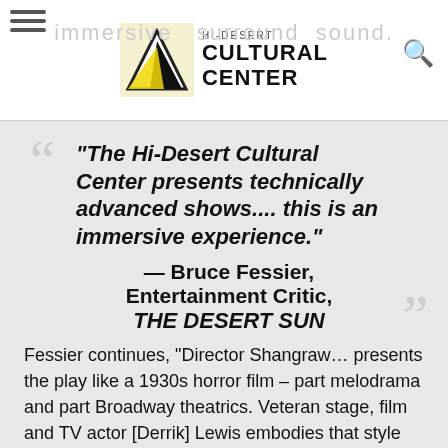Hi-Desert Cultural Center
“The Hi-Desert Cultural Center presents technically advanced shows.... this is an immersive experience.” — Bruce Fessier, Entertainment Critic, THE DESERT SUN
Fessier continues, “Director Shangraw… presents the play like a 1930s horror film – part melodrama and part Broadway theatrics. Veteran stage, film and TV actor [Derrik] Lewis embodies that style as Professor Abram Van Helsing, who discovers the Dracula vampire has come